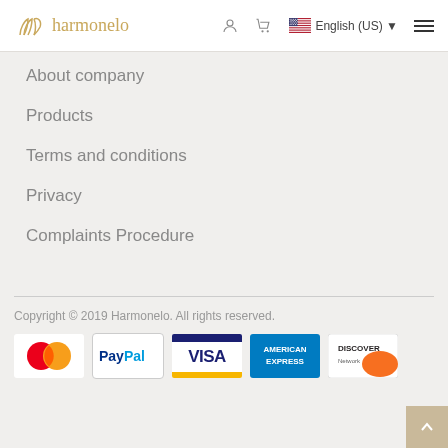harmonelo | English (US)
About company
Products
Terms and conditions
Privacy
Complaints Procedure
Copyright © 2019 Harmonelo. All rights reserved.
[Figure (logo): Payment method logos: MasterCard, PayPal, VISA, American Express, Discover]